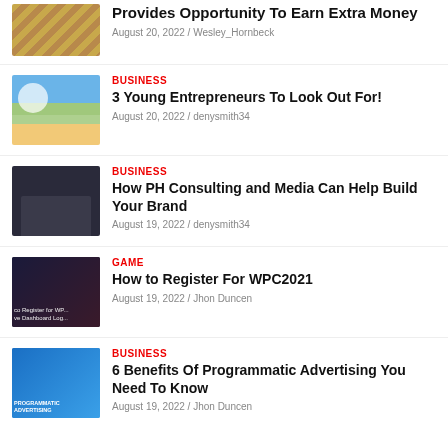Provides Opportunity To Earn Extra Money | August 20, 2022 / Wesley_Hornbeck
BUSINESS | 3 Young Entrepreneurs To Look Out For! | August 20, 2022 / denysmith34
BUSINESS | How PH Consulting and Media Can Help Build Your Brand | August 19, 2022 / denysmith34
GAME | How to Register For WPC2021 | August 19, 2022 / Jhon Duncen
BUSINESS | 6 Benefits Of Programmatic Advertising You Need To Know | August 19, 2022 / Jhon Duncen